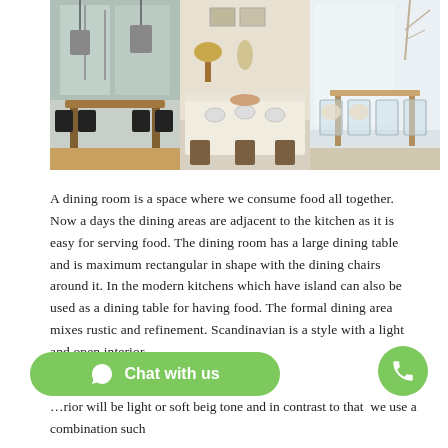[Figure (photo): Three dining room interior photos side by side: left shows a modern dining table with black chairs near large windows with winter trees; center shows a dining table with white tablecloth set for a meal with vintage lamp; right shows clear acrylic chairs around a light dining table in a bright room.]
A dining room is a space where we consume food all together. Now a days the dining areas are adjacent to the kitchen as it is easy for serving food. The dining room has a large dining table and is maximum rectangular in shape with the dining chairs around it. In the modern kitchens which have island can also be used as a dining table for having food. The formal dining area mixes rustic and refinement. Scandinavian is a style with a light and open interior.
…rior will be light or soft beig tone and in contrast to that we use a combination such